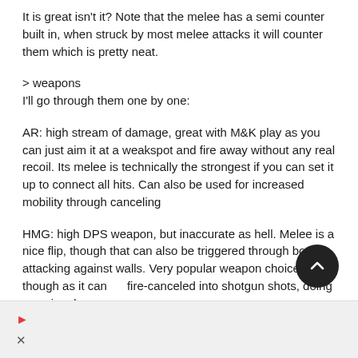It is great isn't it? Note that the melee has a semi counter built in, when struck by most melee attacks it will counter them which is pretty neat.
> weapons
I'll go through them one by one:
AR: high stream of damage, great with M&K play as you can just aim it at a weakspot and fire away without any real recoil. Its melee is technically the strongest if you can set it up to connect all hits. Can also be used for increased mobility through canceling
HMG: high DPS weapon, but inaccurate as hell. Melee is a nice flip, though that can also be triggered through boost-attacking against walls. Very popular weapon choice though as it can be fire-canceled into shotgun shots, doing massive damage.
[Figure (other): Scroll-to-top button (dark circle with upward chevron) and a footer bar with red arrow and X icons]